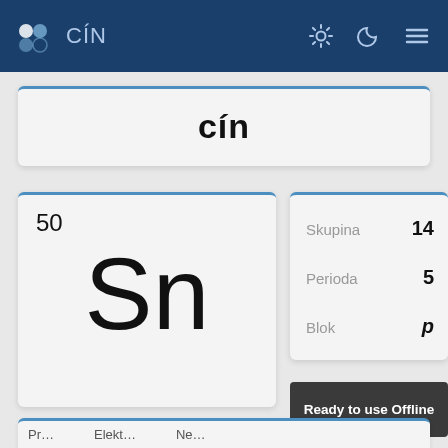CÍN
cín
50
Sn
Skupina 14
Perioda 5
Blok p
Ready to use Offline